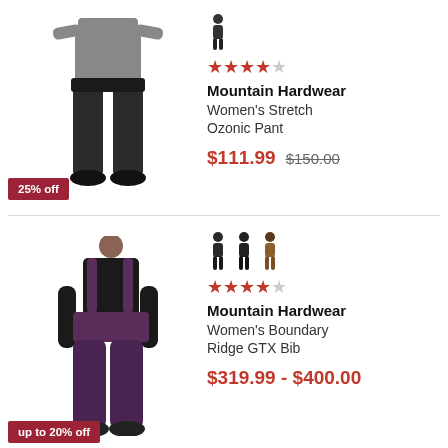[Figure (photo): Woman wearing black stretch ski pants, Mountain Hardwear Women's Stretch Ozonic Pant, with 25% off badge]
Mountain Hardwear | Women's Stretch Ozonic Pant | 4.5 stars | $111.99  $150.00 | 25% off
[Figure (photo): Woman wearing purple bib ski pants, Mountain Hardwear Women's Boundary Ridge GTX Bib, with up to 20% off badge, three color swatches]
Mountain Hardwear | Women's Boundary Ridge GTX Bib | 4 stars | $319.99 - $400.00 | up to 20% off
[Figure (photo): Partial view of a third product row, cropped at bottom of page]